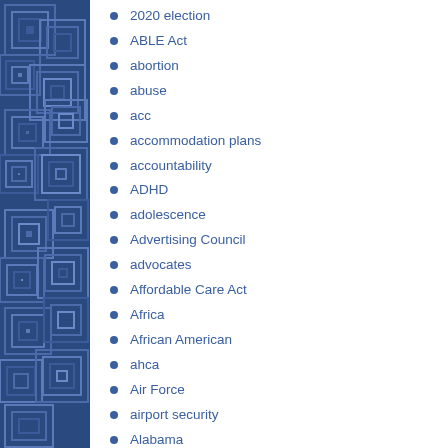[Figure (illustration): Blue decorative sidebar with geometric square/rectangle pattern in varying shades of blue]
2020 election
ABLE Act
abortion
abuse
acc
accommodation plans
accountability
ADHD
adolescence
Advertising Council
advocates
Affordable Care Act
Africa
African American
ahca
Air Force
airport security
Alabama
Alaska
alcohol
alternative medicine
Alzheimer